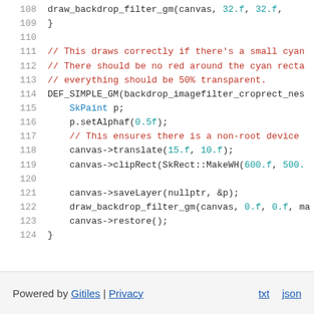108   draw_backdrop_filter_gm(canvas, 32.f, 32.f,
109   }
110
111   // This draws correctly if there's a small cyan
112   // There should be no red around the cyan recta
113   // everything should be 50% transparent.
114   DEF_SIMPLE_GM(backdrop_imagefilter_croprect_nes
115       SkPaint p;
116       p.setAlphaf(0.5f);
117       // This ensures there is a non-root device
118       canvas->translate(15.f, 10.f);
119       canvas->clipRect(SkRect::MakeWH(600.f, 500.
120
121       canvas->saveLayer(nullptr, &p);
122       draw_backdrop_filter_gm(canvas, 0.f, 0.f, ma
123       canvas->restore();
124   }
Powered by Gitiles | Privacy    txt  json